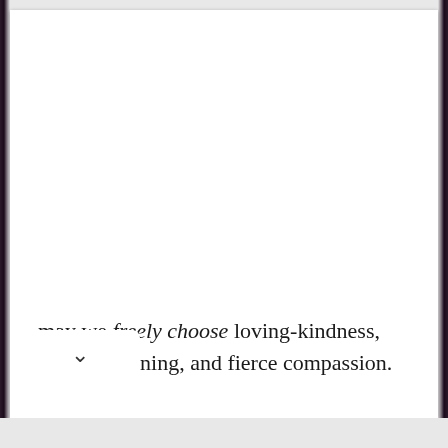may we freely choose loving-kindness, patient listening, and fierce compassion.